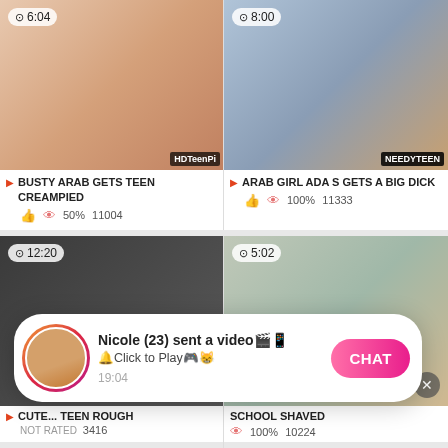[Figure (screenshot): Video thumbnail 1: duration 6:04, watermark HDTeenPi]
[Figure (screenshot): Video thumbnail 2: duration 8:00, watermark NEEDYTEEN]
BUSTY ARAB GETS TEEN CREAMPIED | 50% | 11004
ARAB GIRL ADA S GETS A BIG DICK | 100% | 11333
[Figure (screenshot): Video thumbnail 3: duration 12:20]
[Figure (screenshot): Video thumbnail 4: duration 5:02]
CUTE... TEEN ROUGH | NOT RATED | 3416
SCHOOL SHAVED | 100% | 10224
[Figure (screenshot): Notification popup: Nicole (23) sent a video. Click to Play. CHAT button. Time: 19:04]
[Figure (screenshot): Partial video thumbnail row 3: duration 6:13, and another thumbnail 8:00]